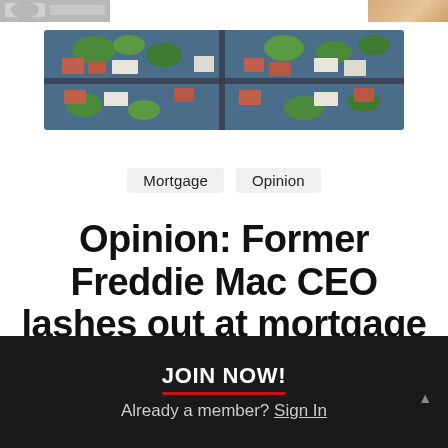[Figure (photo): Partial view of two images at the very top of the page: a grayscale photo on the left and a tan/beige colored image on the right]
[Figure (photo): Aerial overhead photograph of a suburban neighborhood showing rooftops, trees, roads, and houses in green and terracotta tones]
Mortgage   Opinion
Opinion: Former Freddie Mac CEO lashes out at mortgage lenders
Are mortgage originators
JOIN NOW!
Already a member? Sign In